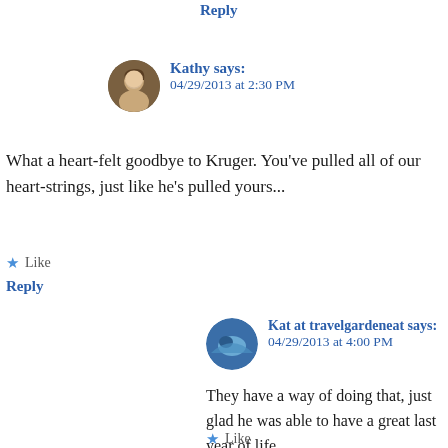Reply
Kathy says:
04/29/2013 at 2:30 PM
What a heart-felt goodbye to Kruger. You've pulled all of our heart-strings, just like he's pulled yours...
★ Like
Reply
Kat at travelgardeneat says:
04/29/2013 at 4:00 PM
They have a way of doing that, just glad he was able to have a great last year of life.
★ Like
Reply